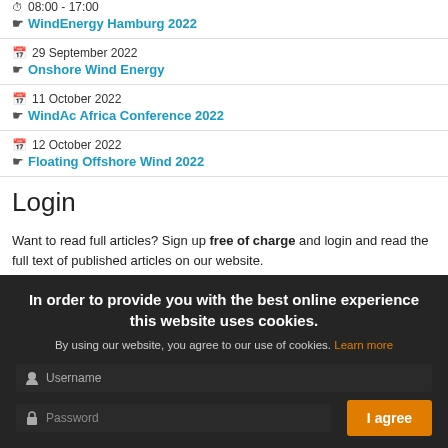27 September 2022 · 08:00 - 17:00 · WindEnergy Hamburg 2022
29 September 2022 · Onshore Wind Energy
11 October 2022 · WindAc Africa Conference 2022
12 October 2022 · Floating Offshore Wind 2022
Login
Want to read full articles? Sign up free of charge and login and read the full text of published articles on our website.
In order to provide you with the best online experience this website uses cookies. By using our website, you agree to our use of cookies. Learn more
I agree